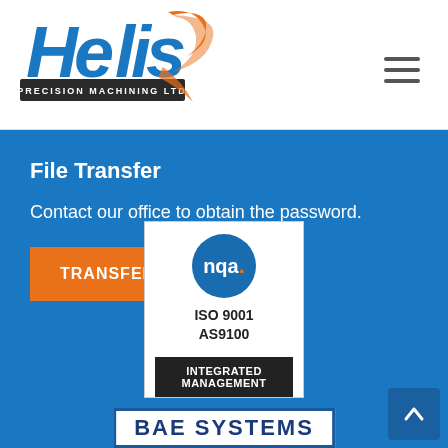[Figure (logo): Helis Precision Machining Ltd logo — blue stylized 'Helis' text with orange swoosh accent, company name below in dark bar]
File Transfer
Contact our office to obtain the password.
TRANSFER FILES!
[Figure (logo): NQA certification badge: blue circle with 'nqa.' text, ISO 9001 AS9100 Integrated Management, dark footer bar]
[Figure (logo): BAE SYSTEMS logo in white banner with blue border text]